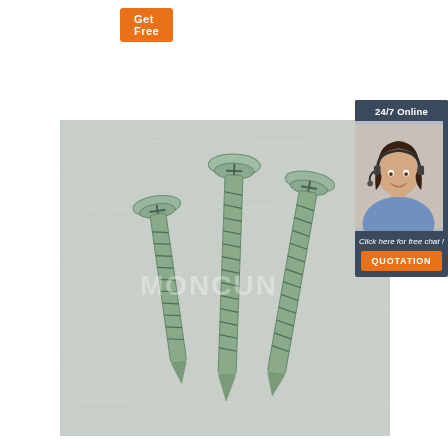[Figure (other): Orange button labeled 'Get Free' partially visible at top left]
[Figure (photo): Product photo of three zinc-plated flat-head wood screws (self-tapping) arranged on a metallic brushed surface, with watermark text 'MONCUN' visible]
[Figure (other): Chat widget panel: '24/7 Online' header, photo of smiling woman with headset, 'Click here for free chat!' text, and orange 'QUOTATION' button]